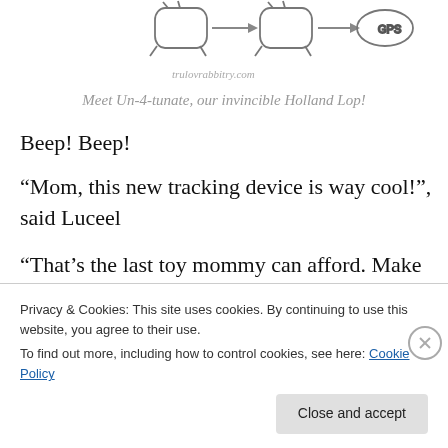[Figure (illustration): Hand-drawn cartoon sketch of a rabbit with a tracking device, with arrows suggesting movement]
trulovrabbitry.com
Meet Un-4-tunate, our invincible Holland Lop!
Beep! Beep!
“Mom, this new tracking device is way cool!”, said Luceel
“That’s the last toy mommy can afford. Make sure you use it well and bring it wherever you go so I can track you down easily”, his mom replied.
“It’s got to the point that I didn’t say this really” the rabbit...
Privacy & Cookies: This site uses cookies. By continuing to use this website, you agree to their use.
To find out more, including how to control cookies, see here: Cookie Policy